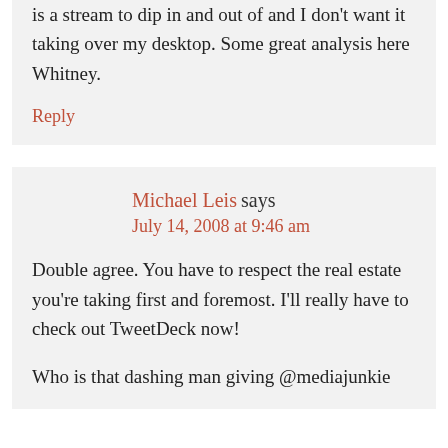is a stream to dip in and out of and I don't want it taking over my desktop. Some great analysis here Whitney.
Reply
Michael Leis says
July 14, 2008 at 9:46 am
Double agree. You have to respect the real estate you're taking first and foremost. I'll really have to check out TweetDeck now!
Who is that dashing man giving @mediajunkie